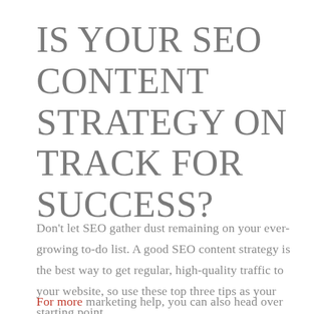IS YOUR SEO CONTENT STRATEGY ON TRACK FOR SUCCESS?
Don't let SEO gather dust remaining on your ever-growing to-do list. A good SEO content strategy is the best way to get regular, high-quality traffic to your website, so use these top three tips as your starting point.
For more marketing help, you can also head over